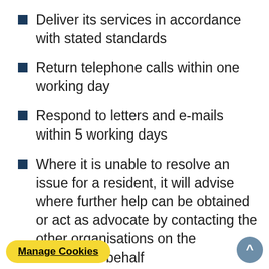Deliver its services in accordance with stated standards
Return telephone calls within one working day
Respond to letters and e-mails within 5 working days
Where it is unable to resolve an issue for a resident, it will advise where further help can be obtained or act as advocate by contacting the other organisations on the customer's behalf
1.3 If a resident has a grievance against the [council, it will be] dealt with in accordance with [the Council's Com]plaints Code